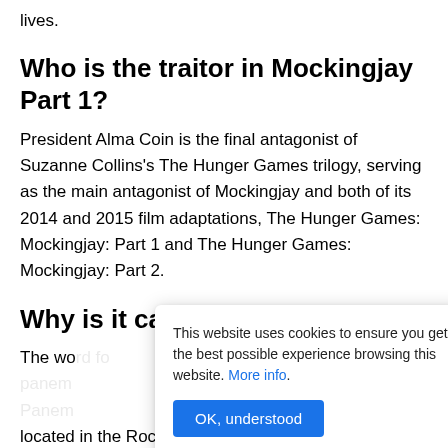lives.
Who is the traitor in Mockingjay Part 1?
President Alma Coin is the final antagonist of Suzanne Collins's The Hunger Games trilogy, serving as the main antagonist of Mockingjay and both of its 2014 and 2015 film adaptations, The Hunger Games: Mockingjay: Part 1 and The Hunger Games: Mockingjay: Part 2.
Why is it called Panem?
The wo word fo panem Panem located in the Rocky Mountains.
This website uses cookies to ensure you get the best possible experience browsing this website. More info.
OK, understood